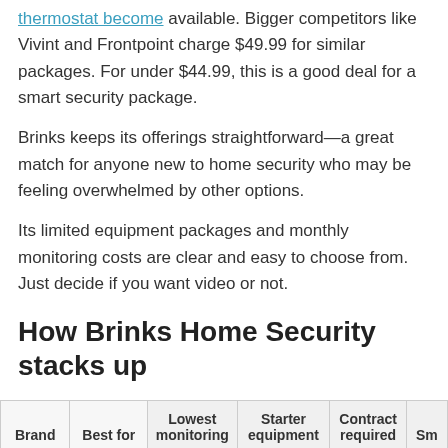thermostat become available. Bigger competitors like Vivint and Frontpoint charge $49.99 for similar packages. For under $44.99, this is a good deal for a smart security package.
Brinks keeps its offerings straightforward—a great match for anyone new to home security who may be feeling overwhelmed by other options.
Its limited equipment packages and monthly monitoring costs are clear and easy to choose from. Just decide if you want video or not.
How Brinks Home Security stacks up
| Brand | Best for | Lowest monitoring | Starter equipment | Contract required | Sm... |
| --- | --- | --- | --- | --- | --- |